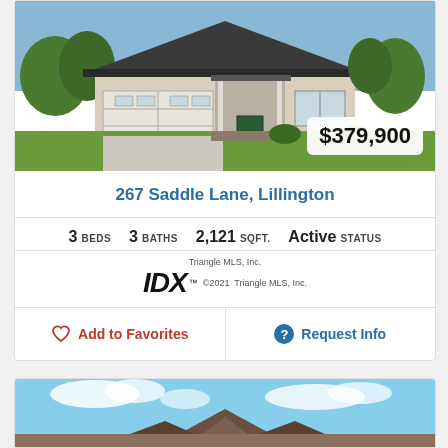[Figure (photo): Exterior photo of a single-family home with two-car garage and covered porch, green lawn; price badge showing $379,900 in lower right corner]
267 Saddle Lane, Lillington
3 BEDS   3 BATHS   2,121 SQFT.   ACTIVE STATUS
[Figure (logo): Triangle MLS, Inc. IDX logo with copyright 2021 Triangle MLS, Inc.]
Add to Favorites
Request Info
[Figure (photo): Partial exterior photo of a second house with peaked roof visible against blue sky with clouds]